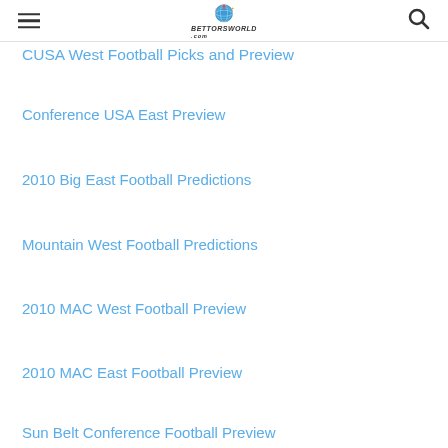BettorsWorld.com
CUSA West Football Picks and Preview
Conference USA East Preview
2010 Big East Football Predictions
Mountain West Football Predictions
2010 MAC West Football Preview
2010 MAC East Football Preview
Sun Belt Conference Football Preview
SEC Football Preview and Predictions 2010